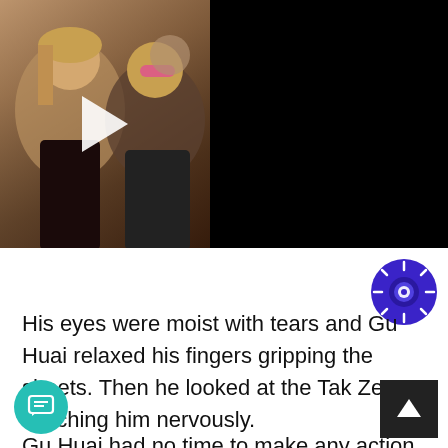[Figure (screenshot): Video thumbnail showing two people (Britney Spears and Elton John) with a play button overlay, on a black background with the article title displayed to the right.]
Britney Spears and Elton John's New Track Shoots to Number 1
His eyes were moist with tears and Gu Huai relaxed his fingers gripping the sheets. Then he looked at the Tak Zerg watching him nervously.
Gu Huai had no time to make any action or sound. His gaze had just touched the head of the largest Taz Zerg when the next second, he was picked up, ca…ged and placed on the Tak Zerg's left shoulder.